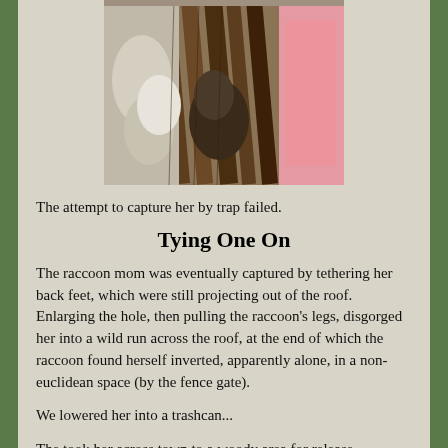[Figure (photo): Person handling a raccoon between wooden boards and pink insulation material, outdoors on a roof]
The attempt to capture her by trap failed.
Tying One On
The raccoon mom was eventually captured by tethering her back feet, which were still projecting out of the roof. Enlarging the hole, then pulling the raccoon's legs, disgorged her into a wild run across the roof, at the end of which the raccoon found herself inverted, apparently alone, in a non-euclidean space (by the fence gate).
We lowered her into a trashcan...
The took her across town to a woody area for release